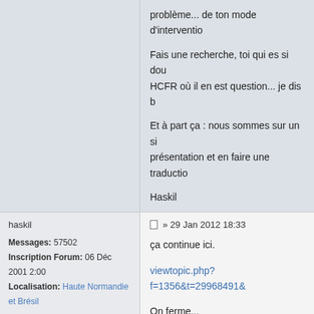problème... de ton mode d'interventio
Fais une recherche, toi qui es si dou HCFR où il en est question... je dis b
Et à part ça : nous sommes sur un si présentation et en faire une traductio
Haskil
haskil
Messages: 57502
Inscription Forum: 06 Déc 2001 2:00
Localisation: Haute Normandie et Brésil
» 29 Jan 2012 18:33
ça continue ici.
viewtopic.php?f=1356&t=29968491&
On ferme...
Afficher les messages posté
VERROUILLÉ
Retourner vers Source